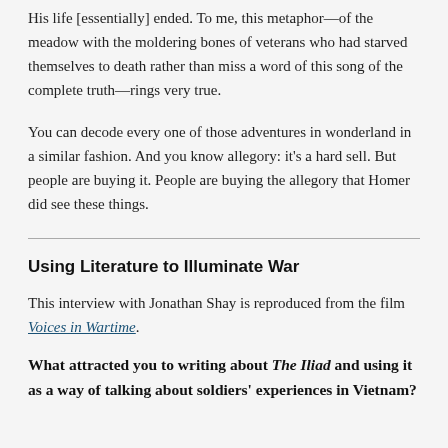His life [essentially] ended. To me, this metaphor—of the meadow with the moldering bones of veterans who had starved themselves to death rather than miss a word of this song of the complete truth—rings very true.
You can decode every one of those adventures in wonderland in a similar fashion. And you know allegory: it's a hard sell. But people are buying it. People are buying the allegory that Homer did see these things.
Using Literature to Illuminate War
This interview with Jonathan Shay is reproduced from the film Voices in Wartime.
What attracted you to writing about The Iliad and using it as a way of talking about soldiers' experiences in Vietnam?